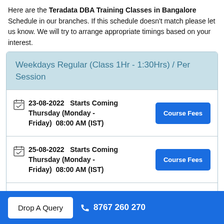Here are the Teradata DBA Training Classes in Bangalore Schedule in our branches. If this schedule doesn't match please let us know. We will try to arrange appropriate timings based on your interest.
Weekdays Regular (Class 1Hr - 1:30Hrs) / Per Session
23-08-2022  Starts Coming Thursday (Monday - Friday)  08:00 AM (IST)
25-08-2022  Starts Coming Thursday (Monday - Friday)  08:00 AM (IST)
29-08-2022  Starts Coming Monday (Monday -
Drop A Query   8767 260 270